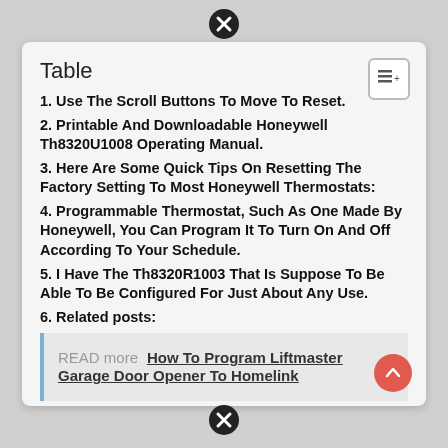Table
1. Use The Scroll Buttons To Move To Reset.
2. Printable And Downloadable Honeywell Th8320U1008 Operating Manual.
3. Here Are Some Quick Tips On Resetting The Factory Setting To Most Honeywell Thermostats:
4. Programmable Thermostat, Such As One Made By Honeywell, You Can Program It To Turn On And Off According To Your Schedule.
5. I Have The Th8320R1003 That Is Suppose To Be Able To Be Configured For Just About Any Use.
6. Related posts:
READ more  How To Program Liftmaster Garage Door Opener To Homelink